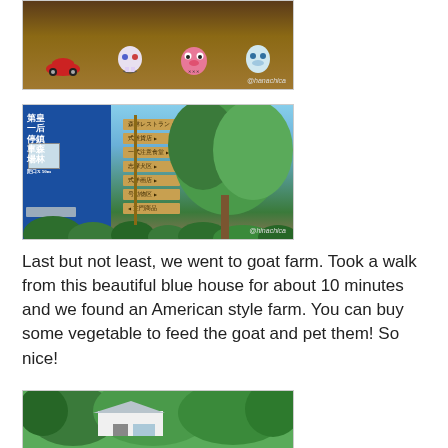[Figure (photo): Colorful toy figurines and piggy banks on a wooden shelf, watermarked @hanachica]
[Figure (photo): Blue house exterior with Chinese characters on wall and wooden directional signs in Japanese/Chinese, watermarked @hinachica]
Last but not least, we went to goat farm. Took a walk from this beautiful blue house for about 10 minutes and we found an American style farm. You can buy some vegetable to feed the goat and pet them! So nice!
[Figure (photo): A farmhouse/building with metal roof surrounded by trees and greenery]